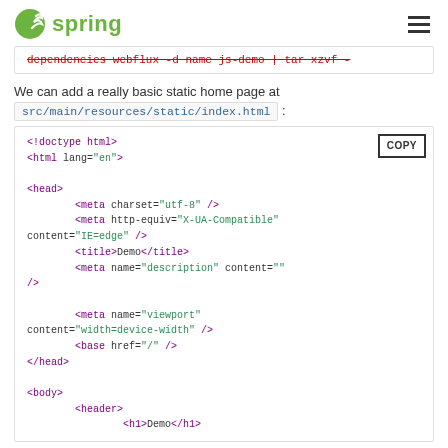spring
dependencies webflux -d name js-demo | tar xzvf -
We can add a really basic static home page at src/main/resources/static/index.html :
<!doctype html>
<html lang="en">

<head>
        <meta charset="utf-8" />
        <meta http-equiv="X-UA-Compatible"
content="IE=edge" />
        <title>Demo</title>
        <meta name="description" content=""
/>

        <meta name="viewport"
content="width=device-width" />
        <base href="/" />
</head>

<body>
        <header>
                <h1>Demo</h1>